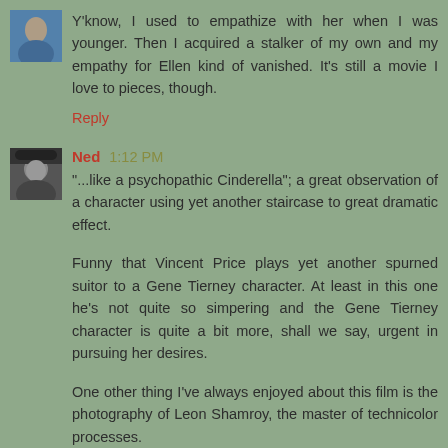[Figure (photo): User avatar - photo of a person, blue/cool toned]
Y'know, I used to empathize with her when I was younger. Then I acquired a stalker of my own and my empathy for Ellen kind of vanished. It's still a movie I love to pieces, though.
Reply
[Figure (photo): User avatar - black and white photo of a man wearing a hat]
Ned 1:12 PM
"...like a psychopathic Cinderella"; a great observation of a character using yet another staircase to great dramatic effect.
Funny that Vincent Price plays yet another spurned suitor to a Gene Tierney character. At least in this one he's not quite so simpering and the Gene Tierney character is quite a bit more, shall we say, urgent in pursuing her desires.
One other thing I've always enjoyed about this film is the photography of Leon Shamroy, the master of technicolor processes.